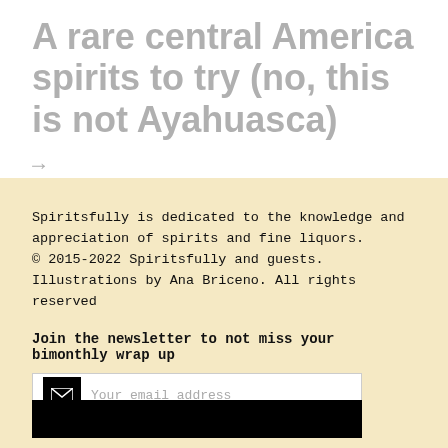A rare central America spirits to try (no, this is not Ayahuasca)
→
Spiritsfully is dedicated to the knowledge and appreciation of spirits and fine liquors.
© 2015-2022 Spiritsfully and guests. Illustrations by Ana Briceno. All rights reserved
Join the newsletter to not miss your bimonthly wrap up
Your email address